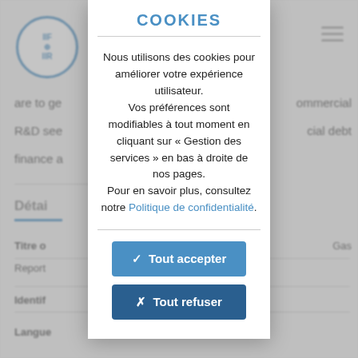[Figure (screenshot): Background of a website page partially visible behind a cookie consent modal. Shows IIF/IIR logo in top left, hamburger menu icon in top right, partial text about R&D and commercial/financial debt, a 'Détai...' section header with blue underline, and fields for 'Titre o', 'Report', 'Identif', and 'Langue' labels.]
COOKIES
Nous utilisons des cookies pour améliorer votre expérience utilisateur.
Vos préférences sont modifiables à tout moment en cliquant sur « Gestion des services » en bas à droite de nos pages.
Pour en savoir plus, consultez notre Politique de confidentialité.
✓ Tout accepter
✗ Tout refuser